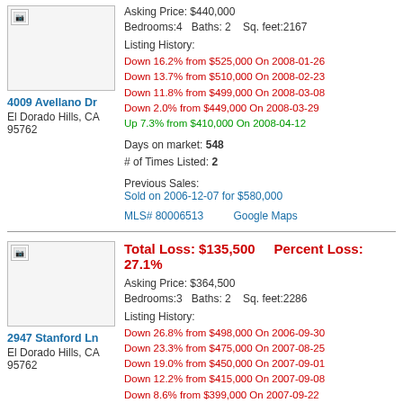[Figure (photo): Property thumbnail image for 4009 Avellano Dr]
4009 Avellano Dr
El Dorado Hills, CA 95762
Asking Price: $440,000
Bedrooms:4  Baths: 2  Sq. feet:2167
Listing History:
Down 16.2% from $525,000 On 2008-01-26
Down 13.7% from $510,000 On 2008-02-23
Down 11.8% from $499,000 On 2008-03-08
Down 2.0% from $449,000 On 2008-03-29
Up 7.3% from $410,000 On 2008-04-12
Days on market: 548
# of Times Listed: 2
Previous Sales:
Sold on 2006-12-07 for $580,000
MLS# 80006513   Google Maps
[Figure (photo): Property thumbnail image for 2947 Stanford Ln]
Total Loss: $135,500   Percent Loss: 27.1%
2947 Stanford Ln
El Dorado Hills, CA 95762
Asking Price: $364,500
Bedrooms:3  Baths: 2  Sq. feet:2286
Listing History:
Down 26.8% from $498,000 On 2006-09-30
Down 23.3% from $475,000 On 2007-08-25
Down 19.0% from $450,000 On 2007-09-01
Down 12.2% from $415,000 On 2007-09-08
Down 8.6% from $399,000 On 2007-09-22
Down 4.1% from $380,000 On 2007-12-29
Down 2.7% from $374,500 On 2008-03-12